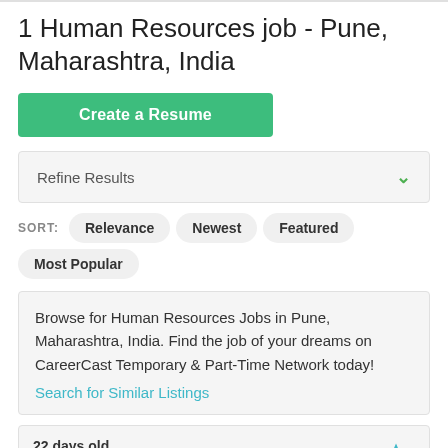1 Human Resources job - Pune, Maharashtra, India
Create a Resume
Refine Results
SORT: Relevance Newest Featured Most Popular
Browse for Human Resources Jobs in Pune, Maharashtra, India. Find the job of your dreams on CareerCast Temporary & Part-Time Network today! Search for Similar Listings
22 days old
Analyst, HRIS
Western Union